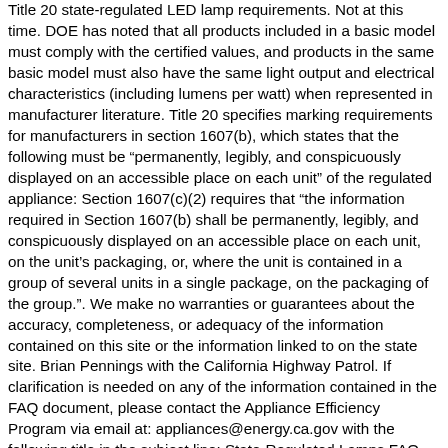Title 20 state-regulated LED lamp requirements. Not at this time. DOE has noted that all products included in a basic model must comply with the certified values, and products in the same basic model must also have the same light output and electrical characteristics (including lumens per watt) when represented in manufacturer literature. Title 20 specifies marking requirements for manufacturers in section 1607(b), which states that the following must be "permanently, legibly, and conspicuously displayed on an accessible place on each unit" of the regulated appliance: Section 1607(c)(2) requires that "the information required in Section 1607(b) shall be permanently, legibly, and conspicuously displayed on an accessible place on each unit, on the unit's packaging, or, where the unit is contained in a group of several units in a single package, on the packaging of the group.". We make no warranties or guarantees about the accuracy, completeness, or adequacy of the information contained on this site or the information linked to on the state site. Brian Pennings with the California Highway Patrol. If clarification is needed on any of the information contained in the FAQ document, please contact the Appliance Efficiency Program via email at: appliances@energy.ca.gov with the following title in the subject line: State-Regulated Lamps FAQ. Yes, general service incandescent and compact fluorescent lamps manufactured before January 1, 2018